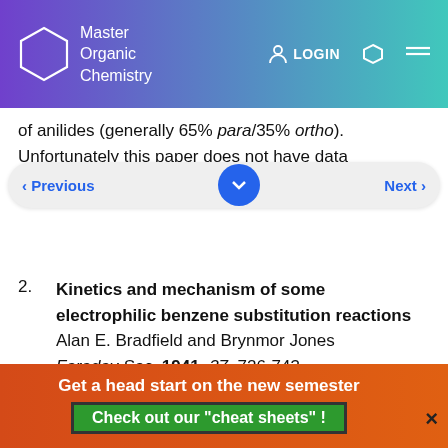Master Organic Chemistry | LOGIN
of anilides (generally 65% para/35% ortho). Unfortunately this paper does not have data
2. Kinetics and mechanism of some electrophilic benzene substitution reactions
Alan E. Bradfield and Brynmor Jones
Faraday Soc. 1941, 37, 726-743
DOI: 10.1039/TF9413700726
Table I in this paper contains partial rate factors for nitration of benzene and related compounds. Chlorobenzene and bromobenzene are around 1-3% as reactive as benzene, whereas ethyl benzoate is significantly deactivated – it is around 0.1-0.2% as reactive as benzene! Toluene is 40-50
Get a head start on the new semester
Check out our "cheat sheets" !